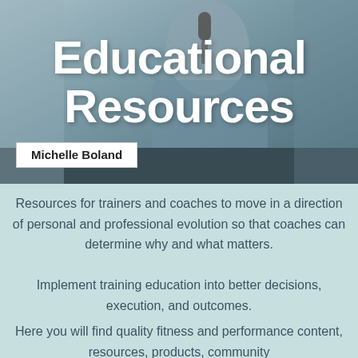[Figure (photo): Black and white photo of a woman speaking at a microphone at a conference table, with a nameplate reading 'Michelle Boland' in the foreground. Large white bold text overlaid reads 'Educational Resources'.]
Educational Resources
Resources for trainers and coaches to move in a direction of personal and professional evolution so that coaches can determine why and what matters.
Implement training education into better decisions, execution, and outcomes.
Here you will find quality fitness and performance content, resources, products, community